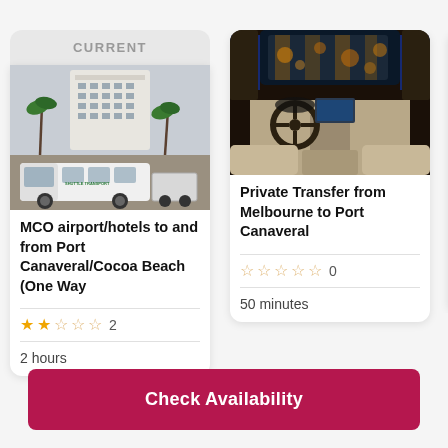CURRENT
[Figure (photo): White van/shuttle bus in front of a hotel building with palm trees]
MCO airport/hotels to and from Port Canaveral/Cocoa Beach (One Way
★★☆☆☆ 2
2 hours
[Figure (photo): Interior of a luxury car/SUV, view from backseat showing steering wheel and dashboard lit up]
Private Transfer from Melbourne to Port Canaveral
☆☆☆☆☆ 0
50 minutes
[Figure (photo): Partial view of a bicycle wheel on a beach (clipped)]
Elect - Por Coco
☆☆
N/A
Check Availability